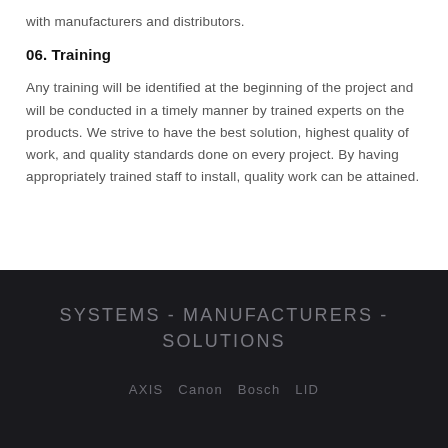with manufacturers and distributors.
06. Training
Any training will be identified at the beginning of the project and will be conducted in a timely manner by trained experts on the products. We strive to have the best solution, highest quality of work, and quality standards done on every project. By having appropriately trained staff to install, quality work can be attained.
SYSTEMS - MANUFACTURERS - SOLUTIONS
AXIS  Canon  Bosch  LID